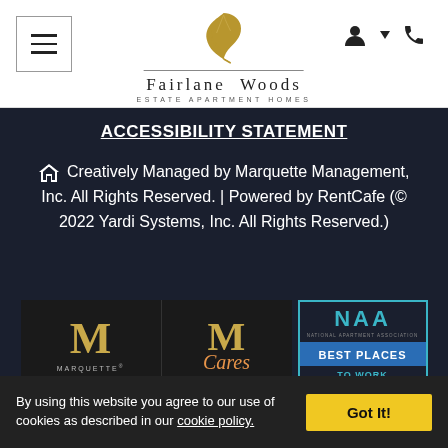[Figure (logo): Fairlane Woods Estate Apartment Homes logo with golden maple leaf, company name in serif font, and 'Estate Apartment Homes' subtitle]
ACCESSIBILITY STATEMENT
Creatively Managed by Marquette Management, Inc. All Rights Reserved. | Powered by RentCafe (© 2022 Yardi Systems, Inc. All Rights Reserved.)
[Figure (logo): Row of company logos: Marquette (dark background with gold M letter), M Cares (dark background with gold M and orange Cares text), NAA Best Places to Work 2020 2021 (teal border badge)]
By using this website you agree to our use of cookies as described in our cookie policy.